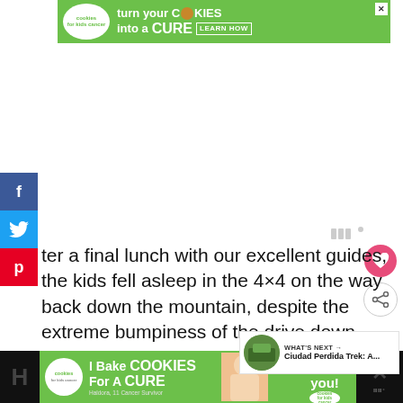[Figure (infographic): Green banner advertisement: 'cookies for kids cancer — turn your COOKIES into a CURE LEARN HOW']
[Figure (infographic): Social media sidebar with Facebook (f), Twitter (bird), and Pinterest (p) share buttons in blue, light blue, and red respectively]
ter a final lunch with our excellent guides, the kids fell asleep in the 4×4 on the way back down the mountain, despite the extreme bumpiness of the drive down.
[Figure (infographic): WHAT'S NEXT arrow widget with thumbnail image and text: Ciudad Perdida Trek: A...]
[Figure (infographic): Bottom banner advertisement: 'I Bake COOKIES For A CURE — Haldora, 11 Cancer Survivor — So can you! cookies for kids cancer']